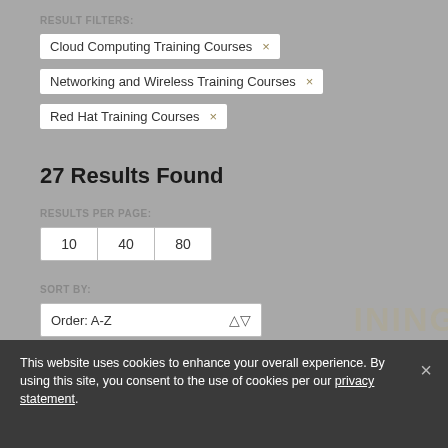RESULT FILTERS:
Cloud Computing Training Courses ×
Networking and Wireless Training Courses ×
Red Hat Training Courses ×
27 Results Found
RESULTS PER PAGE:
10  40  80
SORT BY:
Order: A-Z
This website uses cookies to enhance your overall experience. By using this site, you consent to the use of cookies per our privacy statement.